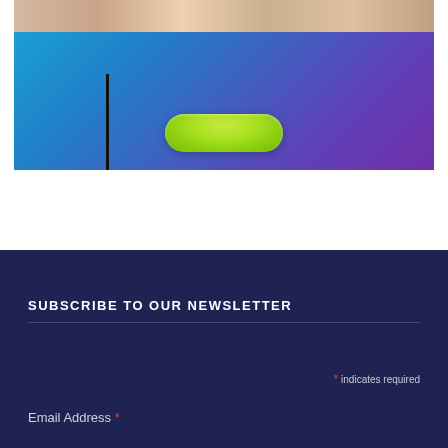[Figure (screenshot): Top portion showing a photo strip of people at top, below it a blue-to-purple gradient block with a vertical black cursor line on the left and a green pill/oval button centered near the bottom of the gradient block.]
SUBSCRIBE TO OUR NEWSLETTER
* indicates required
Email Address *